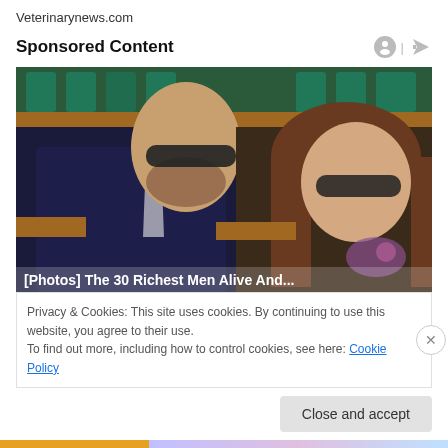Veterinarynews.com
Sponsored Content
[Figure (photo): Two people wearing sunglasses seated at what appears to be a sporting event (Wimbledon-style venue with green seats). A man in a dark suit with gray tie on the left, a woman with long brown hair on the right. Partially obscured text banner at the bottom edge reads '[Photos] The 30 Richest Men Alive And...']
Privacy & Cookies: This site uses cookies. By continuing to use this website, you agree to their use.
To find out more, including how to control cookies, see here: Cookie Policy
Close and accept